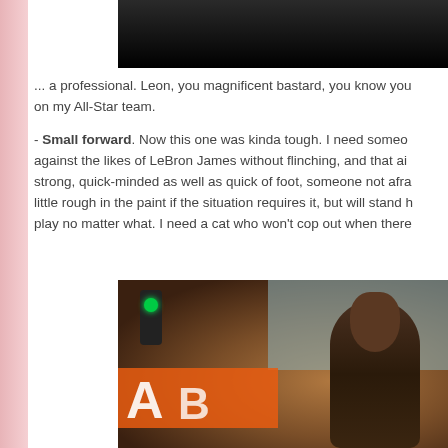[Figure (photo): Partial photo at top of page, dark background, cropped figure visible]
... a professional. Leon, you magnificent bastard, you know you're on my All-Star team.
- Small forward. Now this one was kinda tough. I need someone against the likes of LeBron James without flinching, and that air strong, quick-minded as well as quick of foot, someone not afra little rough in the paint if the situation requires it, but will stand h play no matter what. I need a cat who won't cop out when there
[Figure (photo): Street scene photo showing a man looking upward, with a traffic light showing green, orange signage with letters 'A B' visible, urban setting]